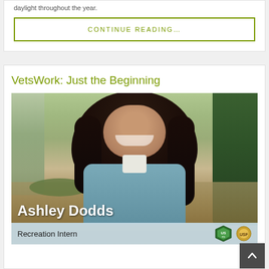daylight throughout the year.
CONTINUE READING…
VetsWork: Just the Beginning
[Figure (photo): Outdoor portrait of Ashley Dodds, Recreation Intern, smiling in front of trees and a winter landscape. She has long dark hair and is wearing a blue-grey fleece. Text overlay shows her name and title with a Forest Service logo.]
Ashley Dodds
Recreation Intern